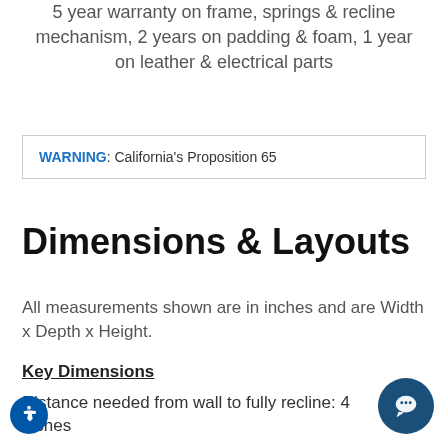5 year warranty on frame, springs & recline mechanism, 2 years on padding & foam, 1 year on leather & electrical parts
WARNING: California's Proposition 65
Dimensions & Layouts
All measurements shown are in inches and are Width x Depth x Height.
Key Dimensions
Distance needed from wall to fully recline: 4 inches